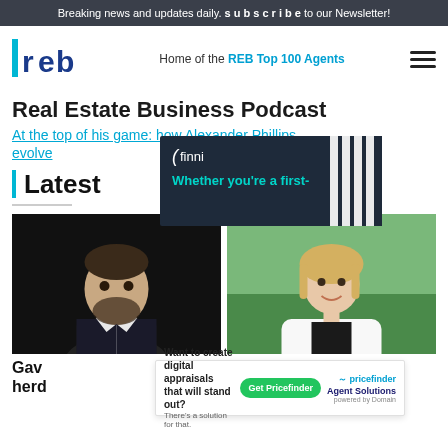Breaking news and updates daily. Subscribe to our Newsletter!
[Figure (logo): REB logo - blue letters with cyan vertical stroke]
Home of the REB Top 100 Agents
Real Estate Business Podcast
At the top of his game: how Alexander Phillips evolves to stay number one
[Figure (advertisement): Finni advertisement - dark background with teal text 'Whether you're a first-' and striped pattern on right]
Latest
[Figure (photo): Portrait photo of bearded man in dark suit against black background]
[Figure (photo): Portrait photo of blonde woman in white blazer against green outdoor background]
Gav herd
nes new director
[Figure (advertisement): Pricefinder advertisement - Want to create digital appraisals that will stand out? Get Pricefinder. Agent Solutions.]